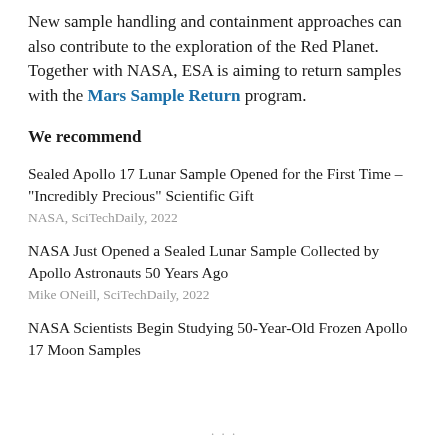New sample handling and containment approaches can also contribute to the exploration of the Red Planet. Together with NASA, ESA is aiming to return samples with the Mars Sample Return program.
We recommend
Sealed Apollo 17 Lunar Sample Opened for the First Time – "Incredibly Precious" Scientific Gift
NASA, SciTechDaily, 2022
NASA Just Opened a Sealed Lunar Sample Collected by Apollo Astronauts 50 Years Ago
Mike ONeill, SciTechDaily, 2022
NASA Scientists Begin Studying 50-Year-Old Frozen Apollo 17 Moon Samples